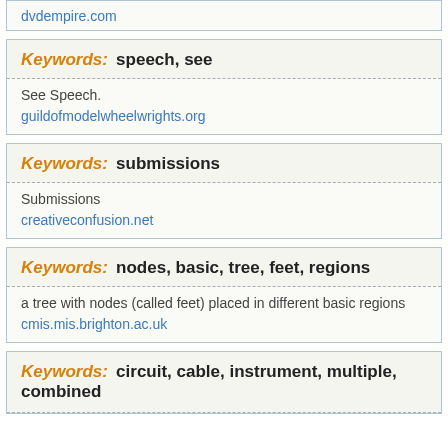dvdempire.com
Keywords: speech, see
See Speech.
guildofmodelwheelwrights.org
Keywords: submissions
Submissions
creativeconfusion.net
Keywords: nodes, basic, tree, feet, regions
a tree with nodes (called feet) placed in different basic regions
cmis.mis.brighton.ac.uk
Keywords: circuit, cable, instrument, multiple, combined